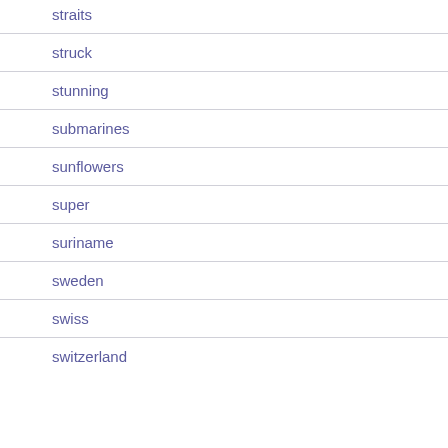straits
struck
stunning
submarines
sunflowers
super
suriname
sweden
swiss
switzerland